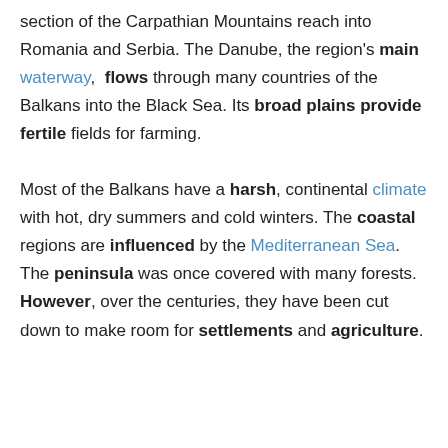section of the Carpathian Mountains reach into Romania and Serbia. The Danube, the region's main waterway, flows through many countries of the Balkans into the Black Sea. Its broad plains provide fertile fields for farming.

Most of the Balkans have a harsh, continental climate with hot, dry summers and cold winters. The coastal regions are influenced by the Mediterranean Sea. The peninsula was once covered with many forests. However, over the centuries, they have been cut down to make room for settlements and agriculture.